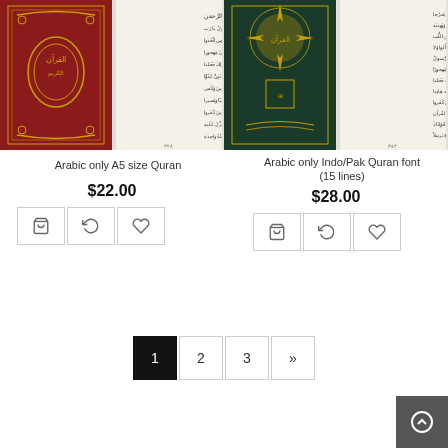[Figure (photo): Two images: left shows red Quran cover with gold Arabic calligraphy, right shows open Quran pages with Arabic text]
Arabic only A5 size Quran
$22.00
[Figure (photo): Two images: left shows dark green/teal Quran cover with gold decoration, right shows open Quran pages with Arabic text]
Arabic only Indo/Pak Quran font (15 lines)
$28.00
1 2 3 »